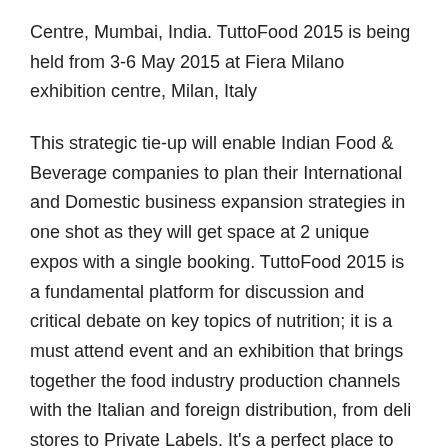Centre, Mumbai, India. TuttoFood 2015 is being held from 3-6 May 2015 at Fiera Milano exhibition centre, Milan, Italy
This strategic tie-up will enable Indian Food & Beverage companies to plan their International and Domestic business expansion strategies in one shot as they will get space at 2 unique expos with a single booking. TuttoFood 2015 is a fundamental platform for discussion and critical debate on key topics of nutrition; it is a must attend event and an exhibition that brings together the food industry production channels with the Italian and foreign distribution, from deli stores to Private Labels. It's a perfect place to compare experiences, analyse market trends, understand the evolution of food consumption and purchase patterns. It is the only exhibition in this sector in Italy with a real International profile. TuttoFood 2015 is supported by the Ministry of Agriculture, Italy. B2B Meetings are an integral part of the show, wherein a host of buyers from USA, RUSSIA, UAE, ITALY, UK, EUROPE and many more